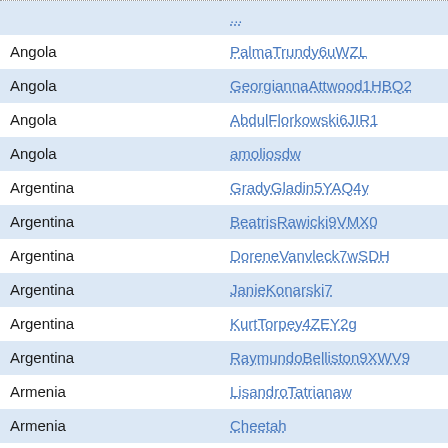| Country | Username | Display Name |
| --- | --- | --- |
| Angola | PalmaTrundy6uWZL | PalmaTrundy6u... |
| Angola | GeorgiannaAttwood1HBQ2 | GeorgiannaAttw... |
| Angola | AbdulFlorkowski6JIR1 | AbdulFlorkowsk... |
| Angola | amoliosdw | amoliosdw |
| Argentina | GradyGladin5YAQ4y | GradyGladin5Y... |
| Argentina | BeatrisRawicki9VMX0 | BeatrisRawicki9... |
| Argentina | DoreneVanvleck7wSDH | DoreneVanvlec... |
| Argentina | JanieKonarski7 | JanieKonarski7 |
| Argentina | KurtTorpey4ZEY2g | KurtTorpey4ZE... |
| Argentina | RaymundoBelliston9XWV9 | RaymundoBelli... |
| Armenia | LisandroTatrianaw | LisandroTatrian... |
| Armenia | Cheetah | Led |
| Armenia | munra | tander |
| Australia | Emilee | Deck |
| Australia | Regan | Downing |
| Australia | Rupert | Aranjo |